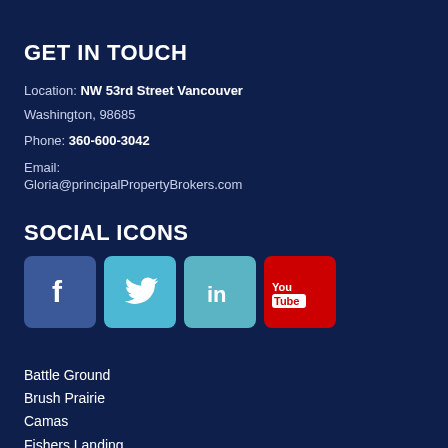GET IN TOUCH
Location: NW 53rd Street Vancouver
Washington, 98685
Phone: 360-600-3042
Email:
Gloria@principalPropertyBrokers.com
SOCIAL ICONS
[Figure (infographic): Row of four social media icon buttons: Facebook (blue), Twitter (light blue), LinkedIn (teal), YouTube (red)]
Battle Ground
Brush Prairie
Camas
Fishers Landing
Hockinson